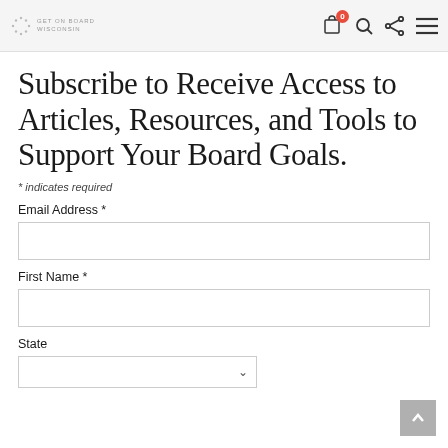GET ON BOARD [logo with nav icons: cart (0), search, share, menu]
Subscribe to Receive Access to Articles, Resources, and Tools to Support Your Board Goals.
* indicates required
Email Address *
First Name *
State